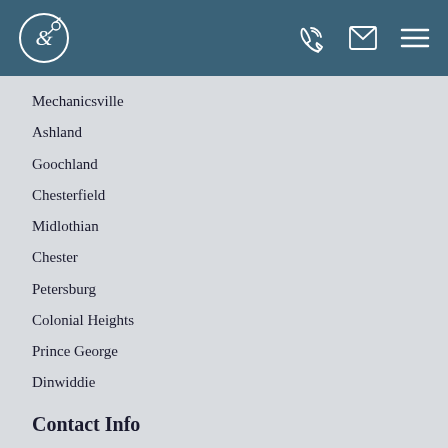Navigation header with logo and icons
Mechanicsville
Ashland
Goochland
Chesterfield
Midlothian
Chester
Petersburg
Colonial Heights
Prince George
Dinwiddie
Contact Info